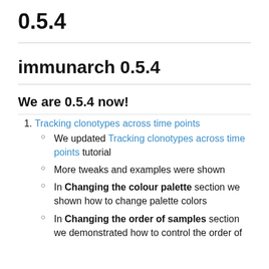0.5.4
immunarch 0.5.4
We are 0.5.4 now!
Tracking clonotypes across time points
We updated Tracking clonotypes across time points tutorial
More tweaks and examples were shown
In Changing the colour palette section we shown how to change palette colors
In Changing the order of samples section we demonstrated how to control the order of